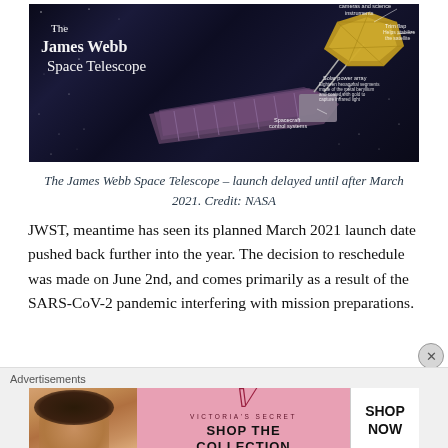[Figure (illustration): Illustrated diagram of the James Webb Space Telescope against a dark starry background. Labels on the image include 'The James Webb Space Telescope', trim flap, solar power array (eighteen hexagonal segments made of the metal beryllium and coated with gold to capture infrared light), spacecraft control systems, and camera and science instruments.]
The James Webb Space Telescope – launch delayed until after March 2021. Credit: NASA
JWST, meantime has seen its planned March 2021 launch date pushed back further into the year. The decision to reschedule was made on June 2nd, and comes primarily as a result of the SARS-CoV-2 pandemic interfering with mission preparations.
[Figure (illustration): Victoria's Secret advertisement banner. Shows a woman's photo on the left, Victoria's Secret logo in the center on a pink background, and 'SHOP THE COLLECTION' text with a 'SHOP NOW' white button on the right.]